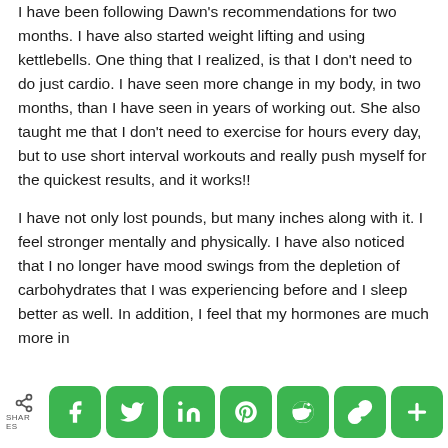I have been following Dawn's recommendations for two months. I have also started weight lifting and using kettlebells. One thing that I realized, is that I don't need to do just cardio. I have seen more change in my body, in two months, than I have seen in years of working out. She also taught me that I don't need to exercise for hours every day, but to use short interval workouts and really push myself for the quickest results, and it works!!
I have not only lost pounds, but many inches along with it. I feel stronger mentally and physically. I have also noticed that I no longer have mood swings from the depletion of carbohydrates that I was experiencing before and I sleep better as well. In addition, I feel that my hormones are much more in
[Figure (infographic): Social share bar with share icon and SHARES label on the left, followed by green rounded buttons for Facebook, Twitter, LinkedIn, Pinterest, Reddit, link/chain, and plus/more.]